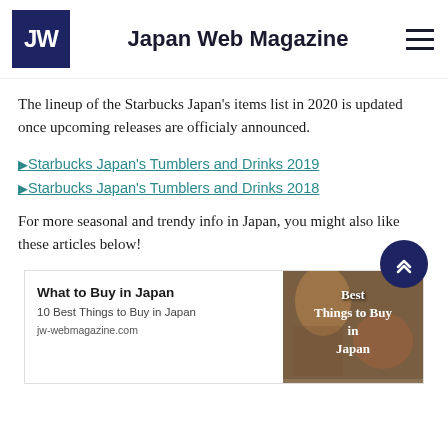Japan Web Magazine
The lineup of the Starbucks Japan's items list in 2020 is updated once upcoming releases are officialy announced.
▶Starbucks Japan's Tumblers and Drinks 2019
▶Starbucks Japan's Tumblers and Drinks 2018
For more seasonal and trendy info in Japan, you might also like these articles below!
[Figure (screenshot): Article card: What to Buy in Japan – 10 Best Things to Buy in Japan, jw-webmagazine.com, with thumbnail image showing 'Best Things to Buy in Japan']